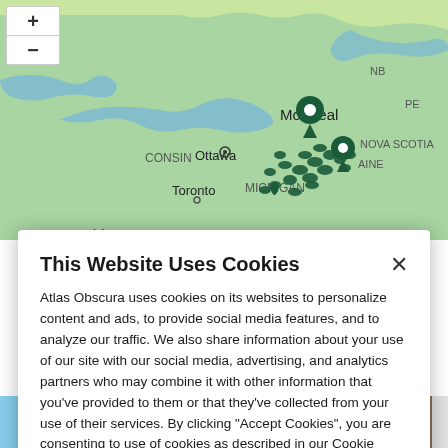[Figure (map): Interactive map showing northeastern North America (Ontario, Quebec, New York, Michigan, Chicago area) with clusters of dark green map pin markers concentrated around the Ontario/Quebec corridor near Toronto and Montreal. Map shows city labels: Ottawa, Montreal, Toronto, Chicago. Region labels: NB, PE, NOVA SCOTIA, CONSIN, MICHIGAN, IOWA, AINE. Zoom in (+) and zoom out (−) controls in upper left.]
This Website Uses Cookies
Atlas Obscura uses cookies on its websites to personalize content and ads, to provide social media features, and to analyze our traffic. We also share information about your use of our site with our social media, advertising, and analytics partners who may combine it with other information that you've provided to them or that they've collected from your use of their services. By clicking "Accept Cookies", you are consenting to use of cookies as described in our Cookie Policy.  View Cookie Policy